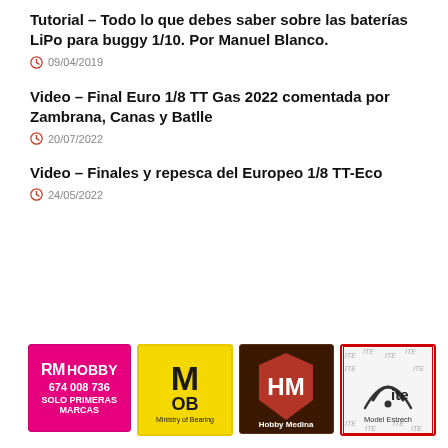Tutorial – Todo lo que debes saber sobre las baterías LiPo para buggy 1/10. Por Manuel Blanco.
09/04/2019
Video – Final Euro 1/8 TT Gas 2022 comentada por Zambrana, Canas y Batlle
20/07/2022
Video – Finales y repesca del Europeo 1/8 TT-Eco
24/05/2022
[Figure (logo): RM Hobby logo - pink background, text RM HOBBY 674 008 736 SOLO PRIMERAS MARCAS]
[Figure (logo): MOB Ministry of Bearing logo - yellow background with black text]
[Figure (logo): Hobby Medina logo - dark brown background with HM badge]
[Figure (logo): Model Estrech ITE logo - white background with red border and ITE watermark pattern]